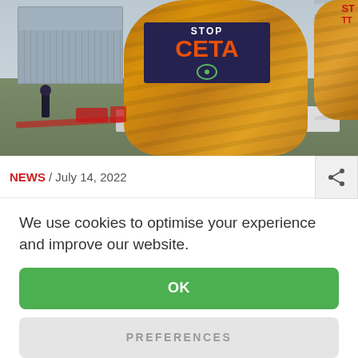[Figure (photo): Protest against CETA trade agreement outside European Parliament. A large inflatable figure holds a banner reading 'STOP CETA' in orange letters on dark purple background. A person walks across the grass in the foreground. Another partial inflatable is visible at right edge.]
NEWS / July 14, 2022
We use cookies to optimise your experience and improve our website.
OK
PREFERENCES